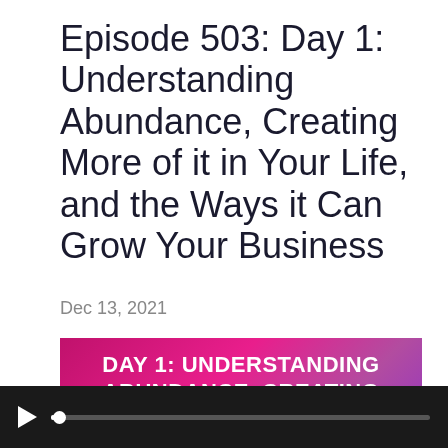Episode 503: Day 1: Understanding Abundance, Creating More of it in Your Life, and the Ways it Can Grow Your Business
Dec 13, 2021
[Figure (other): Podcast episode thumbnail with gradient pink-purple background showing text: DAY 1: UNDERSTANDING ABUNDANCE, CREATING MORE OF IT IN YOUR LIFE, AND THE WAYS]
[Figure (screenshot): Audio player bar with play button and progress track on dark background]